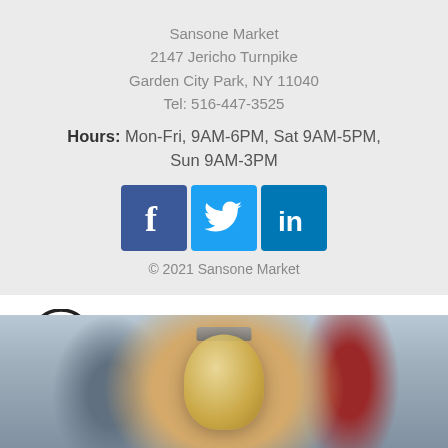Sansone Market
2147 Jericho Turnpike
Garden City Park, NY 11040
Tel: 516-447-3525
Hours: Mon-Fri, 9AM-6PM, Sat 9AM-5PM, Sun 9AM-3PM
[Figure (logo): Social media icons: Facebook (blue square with white f), Twitter (light blue square with white bird), LinkedIn (dark blue square with white 'in')]
© 2021 Sansone Market
[Figure (logo): Instagram logo icon (circle with rounded square camera outline)]
sansone_market
[Figure (photo): Blurred photo of a jar of food/condiment on a counter with other items in background]